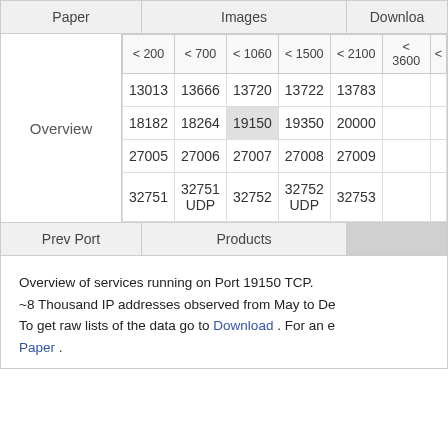| Paper | Images | Download |
| --- | --- | --- |
| Overview | < 200  < 700  < 1060  < 1500  < 2100  < 3600  < |  |
|  | 13013  13666  13720  13722  13783 |  |
|  | 18182  18264  19150  19350  20000 |  |
|  | 27005  27006  27007  27008  27009 |  |
|  | 32751  32751 UDP  32752  32752 UDP  32753 |  |
| Prev Port | Products |  |
| --- | --- | --- |
Overview of services running on Port 19150 TCP. ~8 Thousand IP addresses observed from May to De To get raw lists of the data go to Download . For an e Paper .